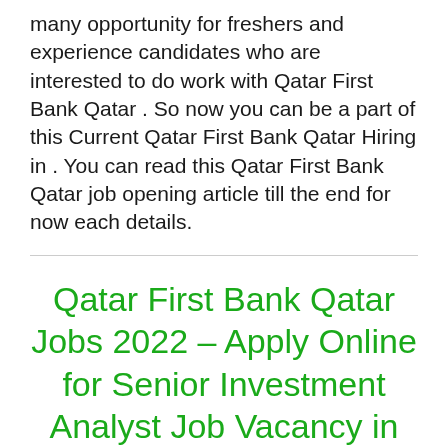many opportunity for freshers and experience candidates who are interested to do work with Qatar First Bank Qatar . So now you can be a part of this Current Qatar First Bank Qatar Hiring in . You can read this Qatar First Bank Qatar job opening article till the end for now each details.
Qatar First Bank Qatar Jobs 2022 – Apply Online for Senior Investment Analyst Job Vacancy in Qatar
Qatar First Bank Qatar Jobs Opening:-
Don't miss this incredible offer announced